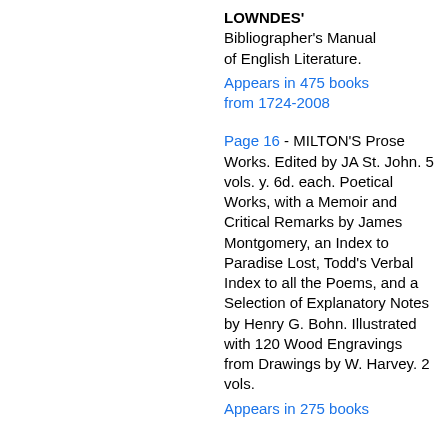LOWNDES' Bibliographer's Manual of English Literature.
Appears in 475 books from 1724-2008
Page 16 - MILTON'S Prose Works. Edited by JA St. John. 5 vols. y. 6d. each. Poetical Works, with a Memoir and Critical Remarks by James Montgomery, an Index to Paradise Lost, Todd's Verbal Index to all the Poems, and a Selection of Explanatory Notes by Henry G. Bohn. Illustrated with 120 Wood Engravings from Drawings by W. Harvey. 2 vols.
Appears in 275 books